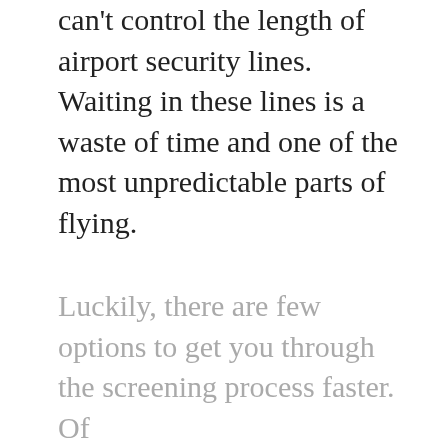can't control the length of airport security lines. Waiting in these lines is a waste of time and one of the most unpredictable parts of flying.
Luckily, there are few options to get you through the screening process faster. Of